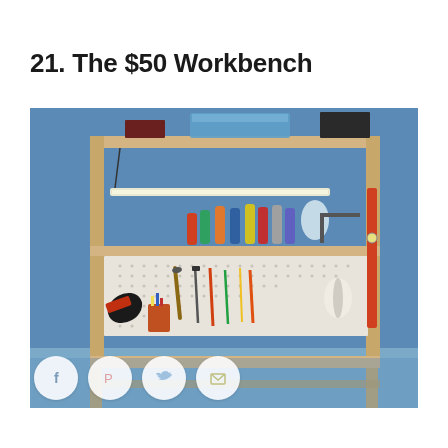21. The $50 Workbench
[Figure (photo): A wooden workbench with upper shelving unit, pegboard tool organizer, fluorescent light, various hand tools, cans, drill, and storage bins, set against a blue wall. Social media share icons (Facebook, Pinterest, Twitter, Email) are overlaid at the bottom left.]